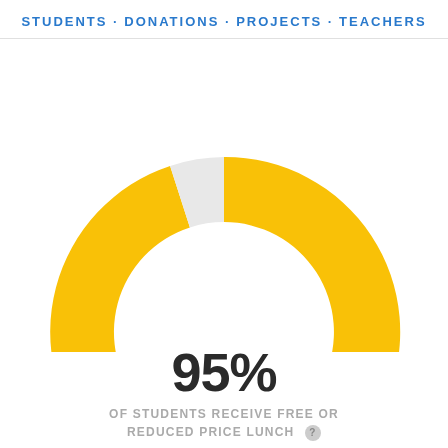STUDENTS · DONATIONS · PROJECTS · TEACHERS
[Figure (donut-chart): 95% of students receive free or reduced price lunch]
95%
OF STUDENTS RECEIVE FREE OR REDUCED PRICE LUNCH
[Figure (bar-chart): Student demographics]